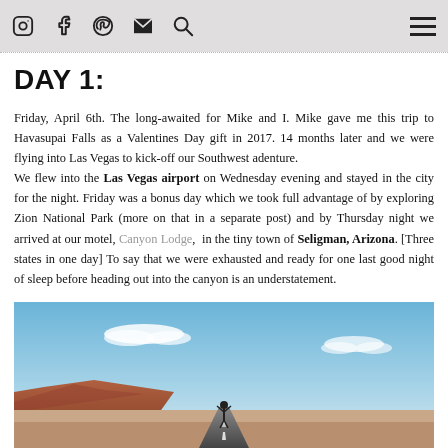Social media icons and navigation menu
DAY 1:
Friday, April 6th. The long-awaited for Mike and I. Mike gave me this trip to Havasupai Falls as a Valentines Day gift in 2017. 14 months later and we were flying into Las Vegas to kick-off our Southwest adenture. We flew into the Las Vegas airport on Wednesday evening and stayed in the city for the night. Friday was a bonus day which we took full advantage of by exploring Zion National Park (more on that in a separate post) and by Thursday night we arrived at our motel, Canyon Lodge, in the tiny town of Seligman, Arizona. [Three states in one day] To say that we were exhausted and ready for one last good night of sleep before heading out into the canyon is an understatement.
[Figure (photo): Road stretching through desert landscape with red mesas and blue sky with clouds, person standing on road with arms raised]